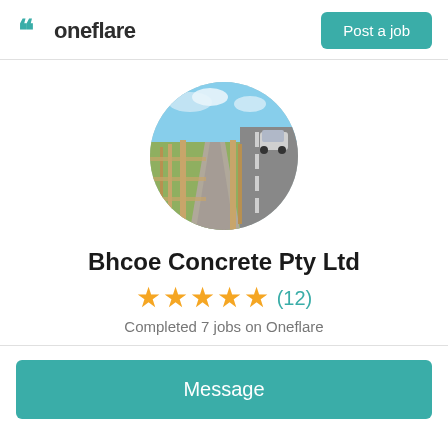oneflare | Post a job
[Figure (photo): Circular profile photo showing a concrete pathway or channel between wooden fences, with a road and sky in the background.]
Bhcoe Concrete Pty Ltd
★★★★★ (12)
Completed 7 jobs on Oneflare
Message